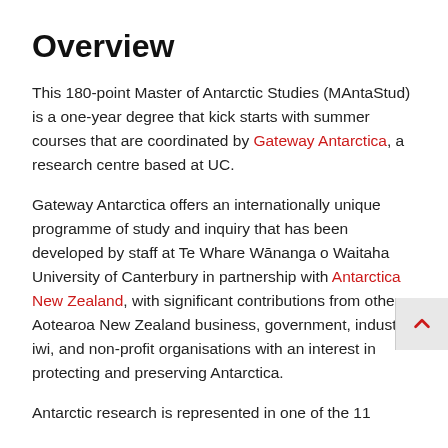Overview
This 180-point Master of Antarctic Studies (MAntaStud) is a one-year degree that kick starts with summer courses that are coordinated by Gateway Antarctica, a research centre based at UC.
Gateway Antarctica offers an internationally unique programme of study and inquiry that has been developed by staff at Te Whare Wānanga o Waitaha University of Canterbury in partnership with Antarctica New Zealand, with significant contributions from other Aotearoa New Zealand business, government, industry, iwi, and non-profit organisations with an interest in protecting and preserving Antarctica.
Antarctic research is represented in one of the 11